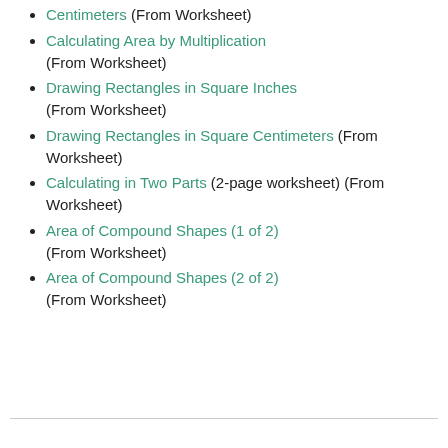Centimeters (From Worksheet)
Calculating Area by Multiplication (From Worksheet)
Drawing Rectangles in Square Inches (From Worksheet)
Drawing Rectangles in Square Centimeters (From Worksheet)
Calculating in Two Parts (2-page worksheet) (From Worksheet)
Area of Compound Shapes (1 of 2) (From Worksheet)
Area of Compound Shapes (2 of 2) (From Worksheet)